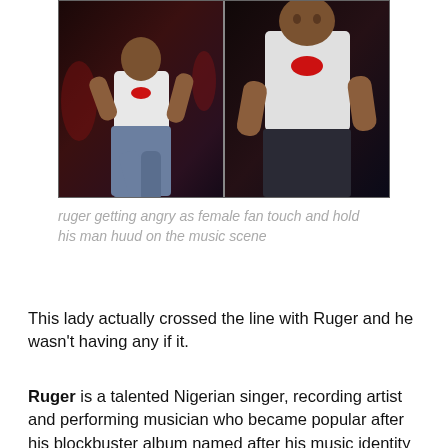[Figure (photo): Two side-by-side video stills showing a man dancing/performing on stage wearing a white tank top with red lips print and blue overalls/jeans, appearing agitated]
ruger getting angry as female fan touch and hold his man huud on the music scene
This lady actually crossed the line with Ruger and he wasn't having any if it.
Ruger is a talented Nigerian singer, recording artist and performing musician who became popular after his blockbuster album named after his music identity went